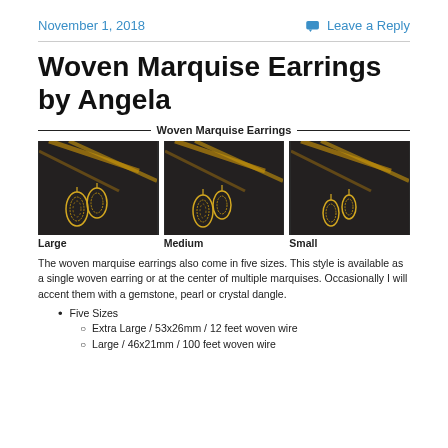November 1, 2018 | Leave a Reply
Woven Marquise Earrings by Angela
Woven Marquise Earrings
[Figure (photo): Three side-by-side photos of woven marquise earrings (large, medium, small) hanging against a dark background with decorative grass stems. Labels: Large, Medium, Small.]
The woven marquise earrings also come in five sizes. This style is available as a single woven earring or at the center of multiple marquises. Occasionally I will accent them with a gemstone, pearl or crystal dangle.
Five Sizes
Extra Large / 53x26mm / 12 feet woven wire
Large / 46x21mm / 100 feet woven wire (partial, cut off)